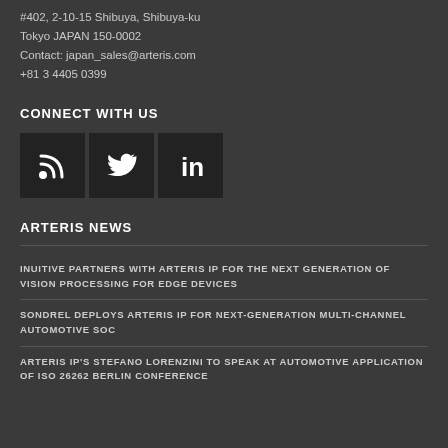#402, 2-10-15 Shibuya, Shibuya-ku
Tokyo JAPAN 150-0002
Contact: japan_sales@arteris.com
+81 3 4405 0399
CONNECT WITH US
[Figure (other): Three social media icon boxes: RSS feed icon, Twitter bird icon, LinkedIn 'in' icon]
ARTERIS NEWS
INUITIVE PARTNERS WITH ARTERIS IP FOR THE NEXT GENERATION OF VISION PROCESSING FOR EDGE DEVICES
SONDREL DEPLOYS ARTERIS IP FOR NEXT-GENERATION MULTI-CHANNEL AUTOMOTIVE SOC
ARTERIS IP'S STEFANO LORENZINI TO SPEAK AT AUTOMOTIVE APPLICATION OF ISO 26262 BERLIN CONFERENCE